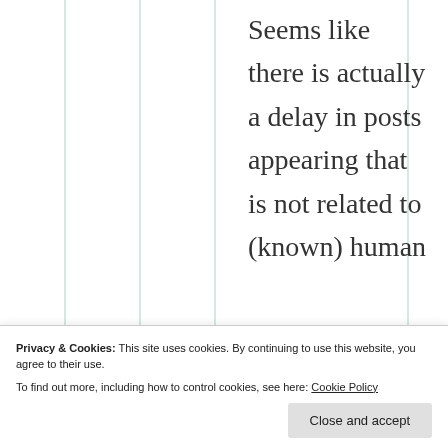Seems like there is actually a delay in posts appearing that is not related to (known) human
freed your
Privacy & Cookies: This site uses cookies. By continuing to use this website, you agree to their use. To find out more, including how to control cookies, see here: Cookie Policy